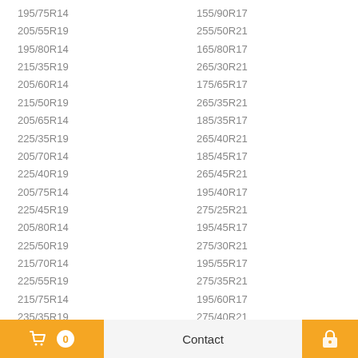195/75R14
205/55R19
195/80R14
215/35R19
205/60R14
215/50R19
205/65R14
225/35R19
205/70R14
225/40R19
205/75R14
225/45R19
205/80R14
225/50R19
215/70R14
225/55R19
215/75R14
235/35R19
215/80R14
235/40R19
225/40R14
235/45R19
225/60R14
235/50R19
125/70R15
155/90R17
255/50R21
165/80R17
265/30R21
175/65R17
265/35R21
185/35R17
265/40R21
185/45R17
265/45R21
195/40R17
275/25R21
195/45R17
275/30R21
195/55R17
275/35R21
195/60R17
275/40R21
205/40R17
275/45R21
205/45R17
275/50R21
205/50R17